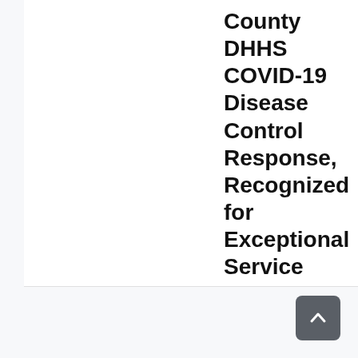County DHHS COVID-19 Disease Control Response, Recognized for Exceptional Service
[Figure (other): Back-to-top navigation button with upward chevron arrow, dark gray rounded square]